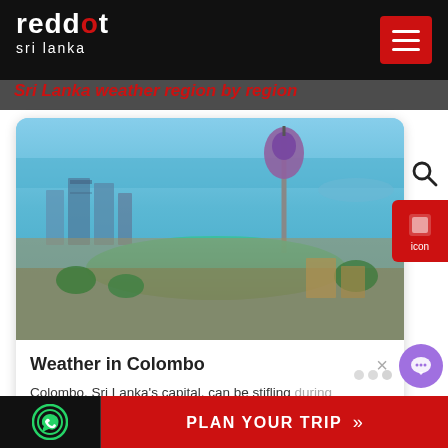reddot sri lanka — navigation header with hamburger menu
Sri Lanka weather region by region
[Figure (photo): Aerial view of Colombo, Sri Lanka, showing the Beira Lake, Lotus Tower, urban skyline with high-rise buildings, and the Indian Ocean in the background under a blue sky]
Weather in Colombo
Colombo, Sri Lanka's capital, can be stifling during the day, with heat hanging in the built-up areas, but the reduction of sea breezes can moderate it.
PLAN YOUR TRIP »